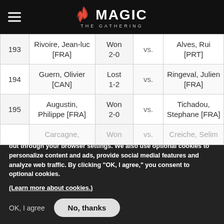Magic: The Gathering
| # | Player | Result | vs. | Opponent |
| --- | --- | --- | --- | --- |
| 193 | Rivoire, Jean-luc [FRA] | Won 2-0 | vs. | Alves, Rui [PRT] |
| 194 | Guern, Olivier [CAN] | Lost 1-2 | vs. | Ringeval, Julien [FRA] |
| 195 | Augustin, Philippe [FRA] | Won 2-0 | vs. | Tichadou, Stephane [FRA] |
|  | Carcagne, | Won | vs. | Creiche, Selim |
We use necessary cookies to allow our site to function correctly and collect anonymous session data. Necessary cookies can be opted out through your browser settings. We also use optional cookies to personalize content and ads, provide social medial features and analyze web traffic. By clicking “OK, I agree,” you consent to optional cookies.
(Learn more about cookies.)